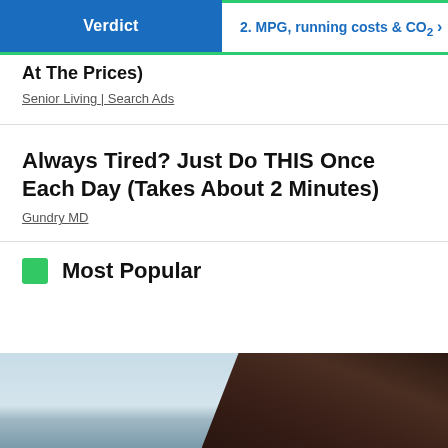Verdict | 2. MPG, running costs & CO2
At The Prices)
Senior Living | Search Ads
Always Tired? Just Do THIS Once Each Day (Takes About 2 Minutes)
Gundry MD
Most Popular
[Figure (photo): Partial image of a dark object against a light sky background, cropped at bottom of page]